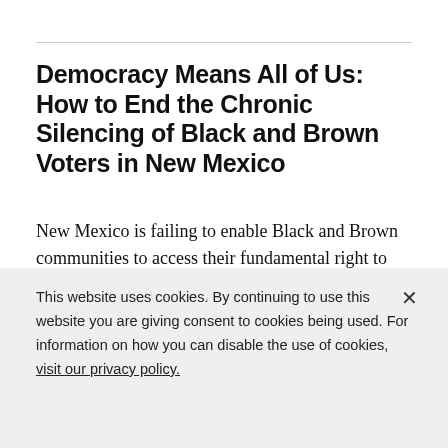Democracy Means All of Us: How to End the Chronic Silencing of Black and Brown Voters in New Mexico
New Mexico is failing to enable Black and Brown communities to access their fundamental right to vote.
POLICY BRIEFS — OCTOBER 28, 2020 —
This website uses cookies. By continuing to use this website you are giving consent to cookies being used. For information on how you can disable the use of cookies, visit our privacy policy.